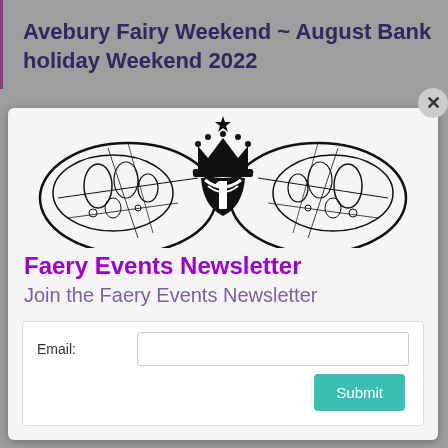Avebury Fairy Weekend ~ August Bank holiday Weekend 2022
[Figure (logo): Faery events logo with crown, fairy wings, and a mushroom/shield silhouette in black and white]
Faery Events Newsletter
Join the Faery Events Newsletter
Email: [input field] Submit